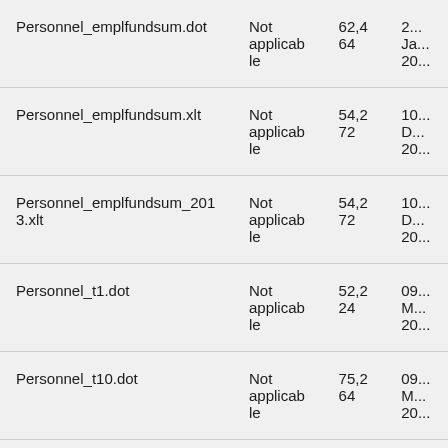| Personnel_emplfundsum.dot | Not applicable | 62,464 | 2...
Ja...
20... |
| Personnel_emplfundsum.xlt | Not applicable | 54,272 | 10...
D...
20... |
| Personnel_emplfundsum_2013.xlt | Not applicable | 54,272 | 10...
D...
20... |
| Personnel_t1.dot | Not applicable | 52,224 | 09...
M...
20... |
| Personnel_t10.dot | Not applicable | 75,264 | 09...
M...
20... |